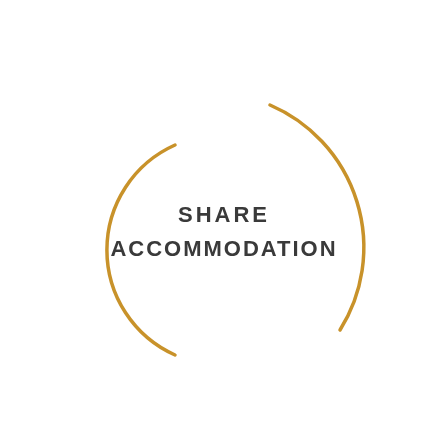[Figure (logo): Share Accommodation logo: two golden arc curves forming an open circle shape with bold dark text 'SHARE ACCOMMODATION' in the center]